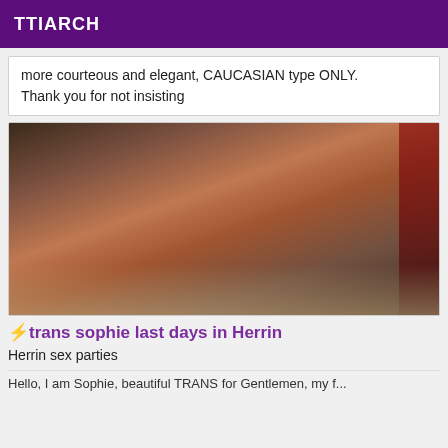TTIARCH
more courteous and elegant, CAUCASIAN type ONLY. Thank you for not insisting
[Figure (photo): Woman in red lingerie lying on a fur rug in a room with a dark leather couch and red curtains in the background]
⚡trans sophie last days in Herrin
Herrin sex parties
Hello, I am Sophie, beautiful TRANS for Gentlemen, my f...